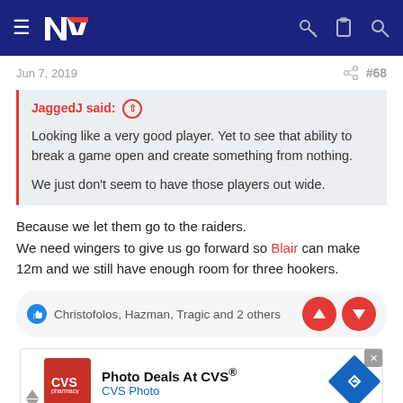NZ Rugby (navigation bar)
Jun 7, 2019   #68
JaggedJ said: ↑
Looking like a very good player. Yet to see that ability to break a game open and create something from nothing.
We just don't seem to have those players out wide.
Because we let them go to the raiders.
We need wingers to give us go forward so Blair can make 12m and we still have enough room for three hookers.
Christofolos, Hazman, Tragic and 2 others
[Figure (screenshot): Advertisement banner: Photo Deals At CVS® — CVS Photo]
Photo Deals At CVS® CVS Photo